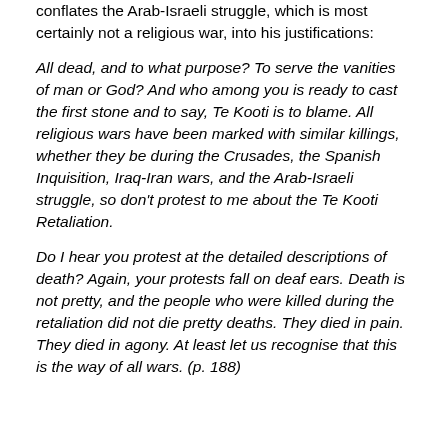conflates the Arab-Israeli struggle, which is most certainly not a religious war, into his justifications:
All dead, and to what purpose?  To serve the vanities of man or God?  And who among you is ready to cast the first stone and to say, Te Kooti is to blame.  All religious wars have been marked with similar killings, whether they be during the Crusades, the Spanish Inquisition, Iraq-Iran wars, and the Arab-Israeli struggle, so don't protest to me about the Te Kooti Retaliation.
Do I hear you protest at the detailed descriptions of death?  Again, your protests fall on deaf ears.  Death is not pretty, and the people who were killed during the retaliation did not die pretty deaths.  They died in pain.  They died in agony.  At least let us recognise that this is the way of all wars.  (p. 188)